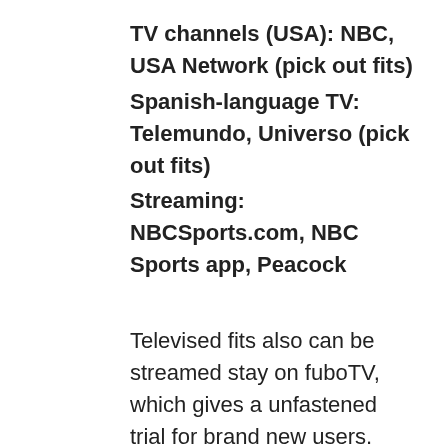TV channels (USA): NBC, USA Network (pick out fits)
Spanish-language TV: Telemundo, Universo (pick out fits)
Streaming: NBCSports.com, NBC Sports app, Peacock
Televised fits also can be streamed stay on fuboTV, which gives a unfastened trial for brand new users.
MORE: When did Manchester United remaining win the Premier League? Struggles given that Sir Alex Ferguson
How to look at Premier League very last day in Canada